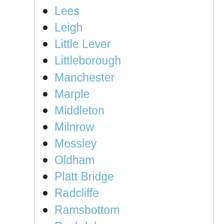Lees
Leigh
Little Lever
Littleborough
Manchester
Marple
Middleton
Milnrow
Mossley
Oldham
Platt Bridge
Radcliffe
Ramsbottom
Rochdale
Romiley
Royton
Sale